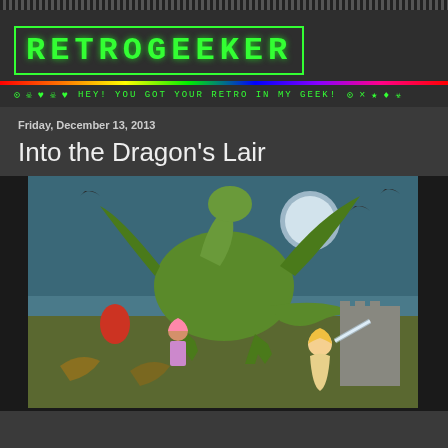RETROGEEKER
HEY! YOU GOT YOUR RETRO IN MY GEEK!
Friday, December 13, 2013
Into the Dragon's Lair
[Figure (illustration): Cartoon illustration showing a large green dragon with characters including a blonde princess holding a sword and a pink-haired figure, set against a blue-green sky background with castle elements]